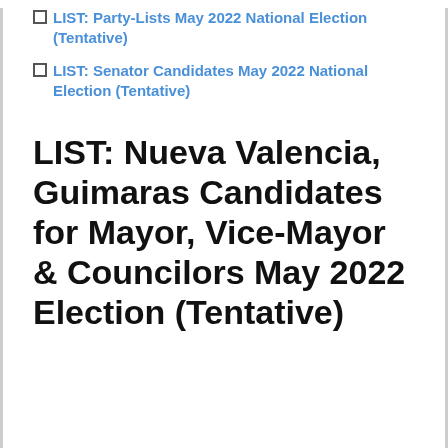LIST: Party-Lists May 2022 National Election (Tentative)
LIST: Senator Candidates May 2022 National Election (Tentative)
LIST: Nueva Valencia, Guimaras Candidates for Mayor, Vice-Mayor & Councilors May 2022 Election (Tentative)